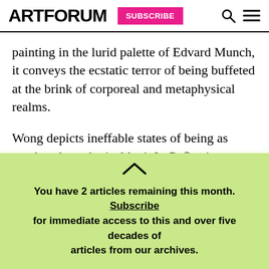ARTFORUM | SUBSCRIBE
painting in the lurid palette of Edvard Munch, it conveys the ecstatic terror of being buffeted at the brink of corporeal and metaphysical realms.
Wong depicts ineffable states of being as much as hypothetical loci. In Reflection, a lone umbrella and empty chair face the sea beyond a fence whose stakes divide the beach and resemble the stitches of a flesh wound, recalling the stigmata of Christ. The gloaming is rendered in an ominously opaque yellow
You have 2 articles remaining this month. Subscribe for immediate access to this and over five decades of articles from our archives.